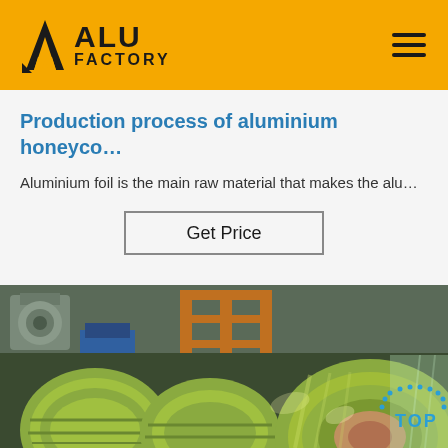ALU FACTORY
Production process of aluminium honeyco…
Aluminium foil is the main raw material that makes the alu…
Get Price
[Figure (photo): Industrial photo showing rolls of gold/green-colored aluminium foil in a factory setting, with manufacturing equipment in the background. A 'TOP' button overlay appears in the bottom-right corner.]